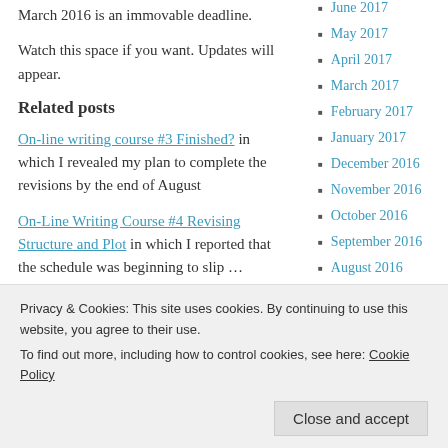March 2016 is an immovable deadline.
Watch this space if you want. Updates will appear.
Related posts
On-line writing course #3 Finished? in which I revealed my plan to complete the revisions by the end of August
On-Line Writing Course #4 Revising Structure and Plot in which I reported that the schedule was beginning to slip …
•
June 2017
May 2017
April 2017
March 2017
February 2017
January 2017
December 2016
November 2016
October 2016
September 2016
August 2016
July 2016
June 2016
May 2016
December 2015
Privacy & Cookies: This site uses cookies. By continuing to use this website, you agree to their use.
To find out more, including how to control cookies, see here: Cookie Policy
Close and accept
Please subscribe by entering your email